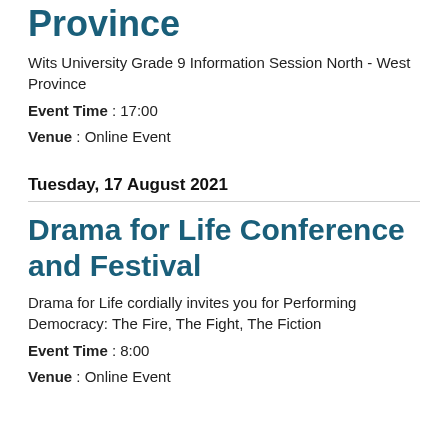Province
Wits University Grade 9 Information Session North - West Province
Event Time : 17:00
Venue : Online Event
Tuesday, 17 August 2021
Drama for Life Conference and Festival
Drama for Life cordially invites you for Performing Democracy: The Fire, The Fight, The Fiction
Event Time : 8:00
Venue : Online Event